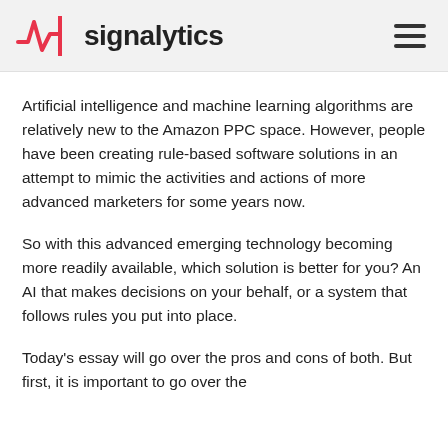signalytics
Artificial intelligence and machine learning algorithms are relatively new to the Amazon PPC space. However, people have been creating rule-based software solutions in an attempt to mimic the activities and actions of more advanced marketers for some years now.
So with this advanced emerging technology becoming more readily available, which solution is better for you? An AI that makes decisions on your behalf, or a system that follows rules you put into place.
Today's essay will go over the pros and cons of both. But first, it is important to go over the